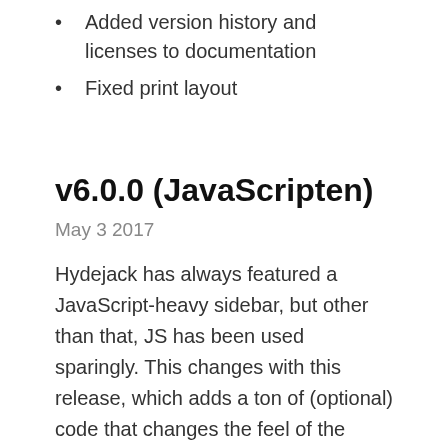Added version history and licenses to documentation
Fixed print layout
v6.0.0 (JavaScripten)
May 3 2017
Hydejack has always featured a JavaScript-heavy sidebar, but other than that, JS has been used sparingly. This changes with this release, which adds a ton of (optional) code that changes the feel of the theme dramatically.